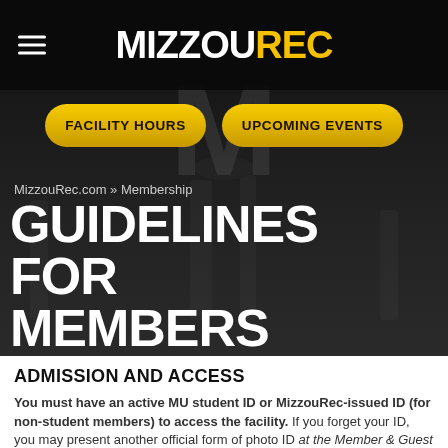MIZZOUREC
[Figure (screenshot): MizzouRec website header with dark background, hamburger menu icon on left, MIZZOUREC logo in center (white MIZZOU, gold REC), and two gold pill-shaped buttons: FACILITY HOURS and UPCOMING EVENTS]
MizzouRec.com » Membership
GUIDELINES FOR MEMBERS
ADMISSION AND ACCESS
You must have an active MU student ID or MizzouRec-issued ID (for non-student members) to access the facility. If you forget your ID, you may present another official form of photo ID at the Member & Guest Services desk. You are allowed one "courtesy pass" per semester